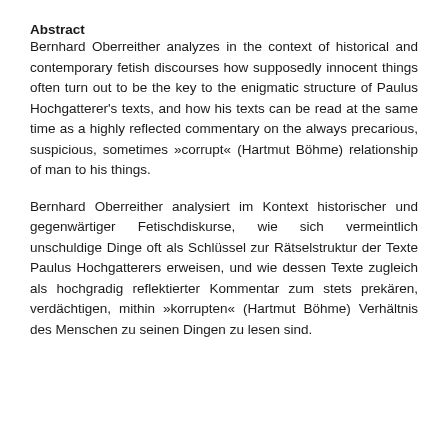Abstract
Bernhard Oberreither analyzes in the context of historical and contemporary fetish discourses how supposedly innocent things often turn out to be the key to the enigmatic structure of Paulus Hochgatterer's texts, and how his texts can be read at the same time as a highly reflected commentary on the always precarious, suspicious, sometimes »corrupt« (Hartmut Böhme) relationship of man to his things.
Bernhard Oberreither analysiert im Kontext historischer und gegenwärtiger Fetischdiskurse, wie sich vermeintlich unschuldige Dinge oft als Schlüssel zur Rätselstruktur der Texte Paulus Hochgatterers erweisen, und wie dessen Texte zugleich als hochgradig reflektierter Kommentar zum stets prekären, verdächtigen, mithin »korrupten« (Hartmut Böhme) Verhältnis des Menschen zu seinen Dingen zu lesen sind.